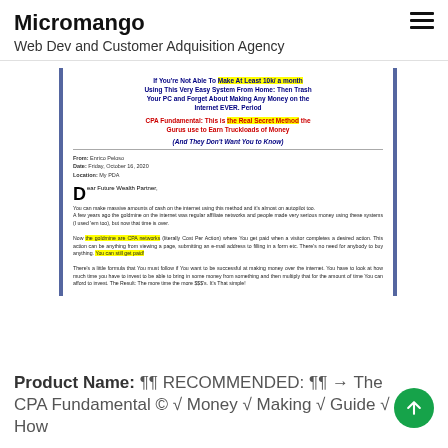Micromango
Web Dev and Customer Adquisition Agency
[Figure (screenshot): Screenshot of a sales letter page titled 'CPA Fundamental: This is the Real Secret Method the Gurus use to Earn Truckloads of Money' with headline, subheadline, from/date/location metadata, and body text addressed to 'Dear Future Wealth Partner'.]
Product Name: ¶¶ RECOMMENDED: ¶¶ → The CPA Fundamental © √ Money √ Making √ Guide √ How